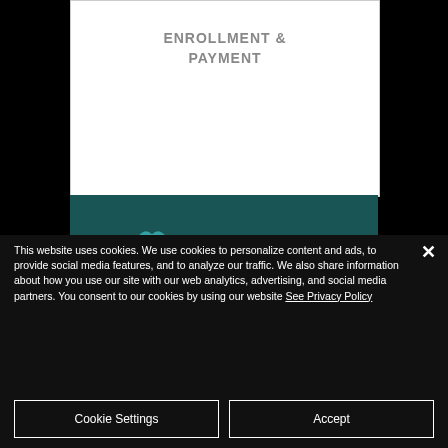ENROLLMENT & PAYMENT
[Figure (illustration): Partial view of a document page with teal background section and decorative crown/badge icon in teal color]
This website uses cookies. We use cookies to personalize content and ads, to provide social media features, and to analyze our traffic. We also share information about how you use our site with our web analytics, advertising, and social media partners. You consent to our cookies by using our website See Privacy Policy
Cookie Settings
Accept